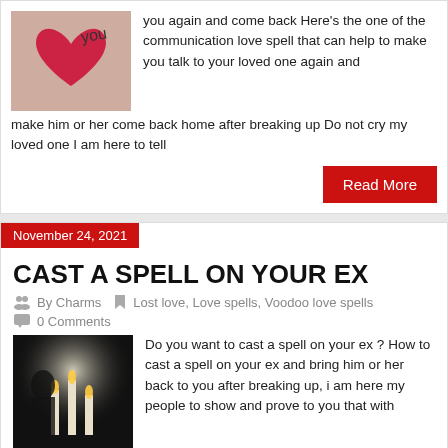[Figure (photo): Photo of a heart image with 'I Love You' text]
you again and come back Here's the one of the communication love spell that can help to make you talk to your loved one again and make him or her come back home after breaking up Do not cry my loved one I am here to tell
Read More
November 24, 2021
CAST A SPELL ON YOUR EX
By Charms   Lost love, Love spells, Voodoo love spells   0 Comments
[Figure (photo): Dark atmospheric photo of a woman with candles]
Do you want to cast a spell on your ex ? How to cast a spell on your ex and bring him or her back to you after breaking up, i am here my people to show and prove to you that with
me everything is possible my dear people You have been